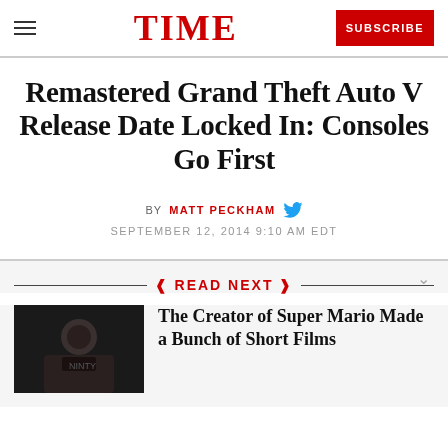TIME
Remastered Grand Theft Auto V Release Date Locked In: Consoles Go First
BY MATT PECKHAM
SEPTEMBER 12, 2014 9:10 AM EDT
READ NEXT
[Figure (photo): Dark photo of a person in a black t-shirt]
The Creator of Super Mario Made a Bunch of Short Films